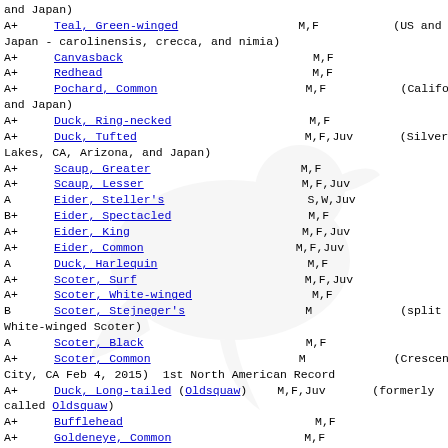and Japan)
A+   Teal, Green-winged   M,F   (US and Japan - carolinensis, crecca, and nimia)
A+   Canvasback   M,F
A+   Redhead   M,F
A+   Pochard, Common   M,F   (California and Japan)
A+   Duck, Ring-necked   M,F
A+   Duck, Tufted   M,F,Juv   (Silver Lakes, CA, Arizona, and Japan)
A+   Scaup, Greater   M,F
A+   Scaup, Lesser   M,F,Juv
A   Eider, Steller's   S,W,Juv
B+   Eider, Spectacled   M,F
A+   Eider, King   M,F,Juv
A+   Eider, Common   M,F,Juv
A   Duck, Harlequin   M,F
A+   Scoter, Surf   M,F,Juv
A+   Scoter, White-winged   M,F
B   Scoter, Stejneger's   M   (split from White-winged Scoter)
A   Scoter, Black   M,F
A+   Scoter, Common   M   (Crescent City, CA Feb 4, 2015)  1st North American Record
A+   Duck, Long-tailed (Oldsquaw)   M,F,Juv   (formerly called Oldsquaw)
A+   Bufflehead   M,F
A+   Goldeneye, Common   M,F
A   Goldeneye, Barrow's   M,F
A+   Smew   M,F   (Attu...